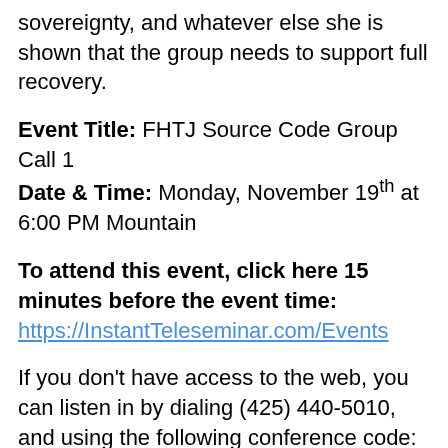sovereignty, and whatever else she is shown that the group needs to support full recovery.
Event Title: FHTJ Source Code Group Call 1
Date & Time: Monday, November 19th at 6:00 PM Mountain
To attend this event, click here 15 minutes before the event time:
https://InstantTeleseminar.com/Events
If you don't have access to the web, you can listen in by dialing (425) 440-5010, and using the following conference code: